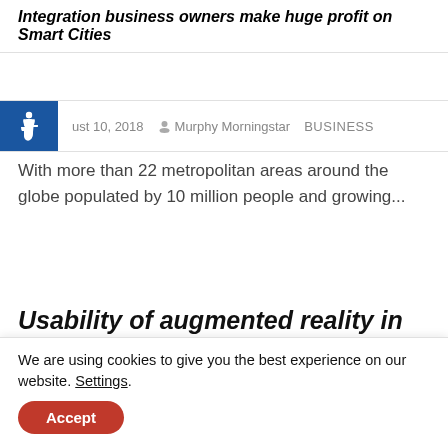Integration business owners make huge profit on Smart Cities
August 10, 2018 · Murphy Morningstar · BUSINESS
With more than 22 metropolitan areas around the globe populated by 10 million people and growing...
Usability of augmented reality in industrial production
TECHNOLOGY
We are using cookies to give you the best experience on our website. Settings.
Accept